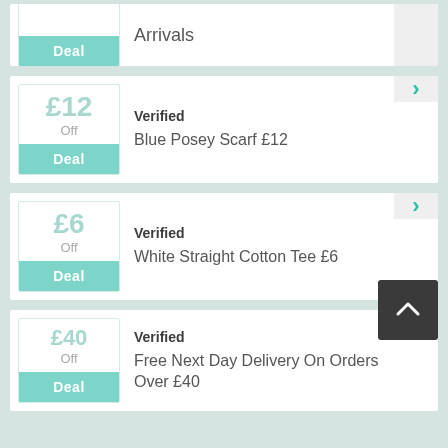[Figure (screenshot): Partially visible deal card at top showing 'Arrivals' text and a teal 'Deal' badge]
Verified — Blue Posey Scarf £12 — £12 Off Deal
Verified — White Straight Cotton Tee £6 — £6 Off Deal
Verified — Free Next Day Delivery On Orders Over £40 — £40 Off Deal